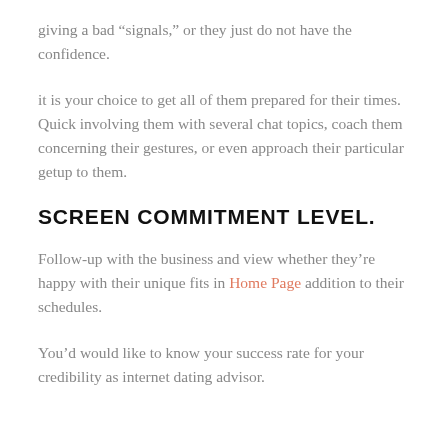giving a bad “signals,” or they just do not have the confidence.
it is your choice to get all of them prepared for their times. Quick involving them with several chat topics, coach them concerning their gestures, or even approach their particular getup to them.
SCREEN COMMITMENT LEVEL.
Follow-up with the business and view whether they’re happy with their unique fits in Home Page addition to their schedules.
You’d would like to know your success rate for your credibility as internet dating advisor.